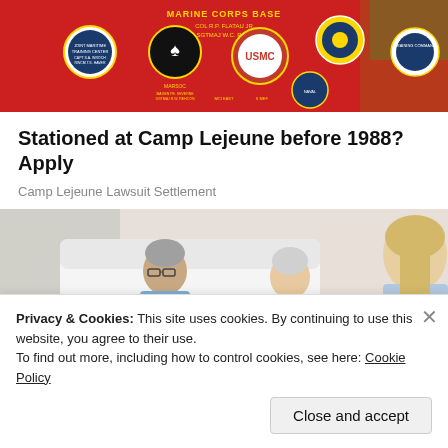[Figure (photo): Marine Corps Base sign/banner on red background with military insignia and unit logos]
Stationed at Camp Lejeune before 1988? Apply
Camp Lejeune Lawsuit Settlement
[Figure (photo): Elderly woman lying in hospital bed with an older man beside her and a blonde female healthcare worker across from them]
Privacy & Cookies: This site uses cookies. By continuing to use this website, you agree to their use.
To find out more, including how to control cookies, see here: Cookie Policy
Close and accept